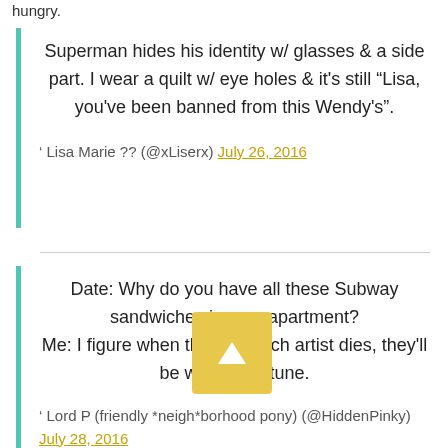hungry.
Superman hides his identity w/ glasses & a side part. I wear a quilt w/ eye holes & it's still "Lisa, you've been banned from this Wendy's".
' Lisa Marie ?? (@xLiserx) July 26, 2016
Date: Why do you have all these Subway sandwiches in your apartment?
Me: I figure when the sandwich artist dies, they'll be worth a fortune.
' Lord P (friendly *neigh*borhood pony) (@HiddenPinky) July 28, 2016